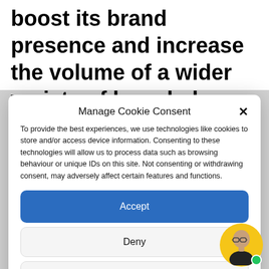boost its brand presence and increase the volume of a wider variety of branded search
Manage Cookie Consent
To provide the best experiences, we use technologies like cookies to store and/or access device information. Consenting to these technologies will allow us to process data such as browsing behaviour or unique IDs on this site. Not consenting or withdrawing consent, may adversely affect certain features and functions.
Accept
Deny
View preferences
Cookie Policy   Privacy Statement